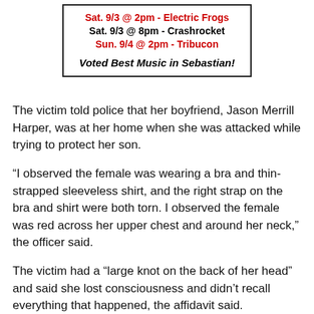[Figure (other): Advertisement box with event listings: Sat. 9/3 @ 2pm - Electric Frogs (red), Sat. 9/3 @ 8pm - Crashrocket (black), Sun. 9/4 @ 2pm - Tribucon (red), Voted Best Music in Sebastian! (bold italic)]
The victim told police that her boyfriend, Jason Merrill Harper, was at her home when she was attacked while trying to protect her son.
“I observed the female was wearing a bra and thin-strapped sleeveless shirt, and the right strap on the bra and shirt were both torn. I observed the female was red across her upper chest and around her neck,” the officer said.
The victim had a “large knot on the back of her head” and said she lost consciousness and didn’t recall everything that happened, the affidavit said.